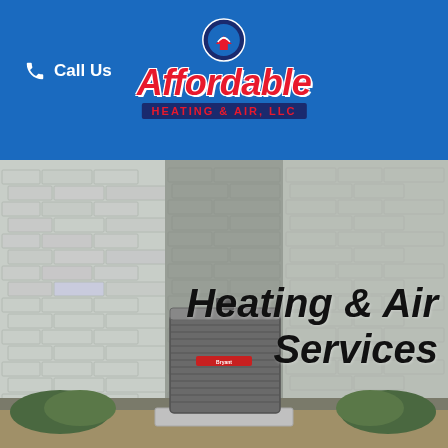Call Us
[Figure (logo): Affordable Heating & Air, LLC logo with red italic text and circular emblem on blue background]
[Figure (photo): Outdoor HVAC/AC unit (Bryant brand) installed on concrete pad against a light brick wall, with landscaping shrubs around it]
Heating & Air Services